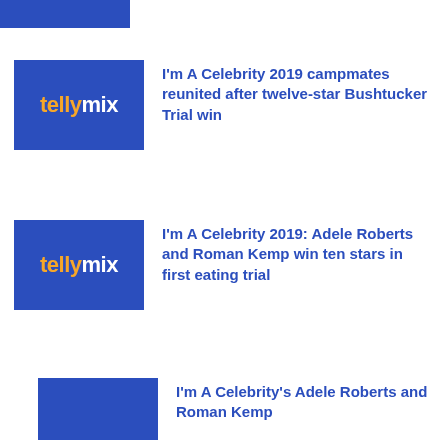[Figure (logo): Partial top blue rectangle from tellymix thumbnail]
[Figure (logo): Tellymix logo thumbnail - blue square with 'telly' in orange and 'mix' in white]
I'm A Celebrity 2019 campmates reunited after twelve-star Bushtucker Trial win
[Figure (logo): Tellymix logo thumbnail - blue square with 'telly' in orange and 'mix' in white]
I'm A Celebrity 2019: Adele Roberts and Roman Kemp win ten stars in first eating trial
[Figure (logo): Partial tellymix thumbnail (cropped at bottom of page)]
I'm A Celebrity's Adele Roberts and Roman Kemp